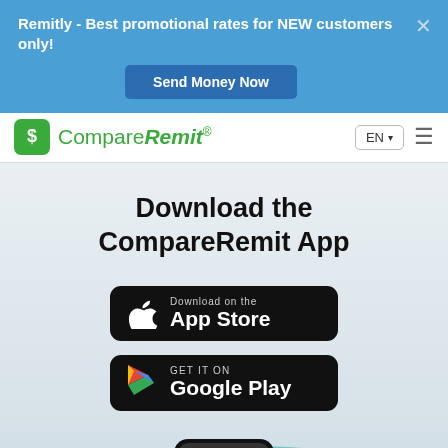Remitly - Best promotional rates for NEW customers only!
Send Money Now
[Figure (logo): CompareRemit logo with green dollar icon and green italic text]
Download the CompareRemit App
[Figure (screenshot): Download on the App Store button - black rounded rectangle with Apple logo]
[Figure (screenshot): GET IT ON Google Play button - black rounded rectangle with Google Play triangle logo]
[Figure (illustration): Teal wave shape at bottom with phone peek]